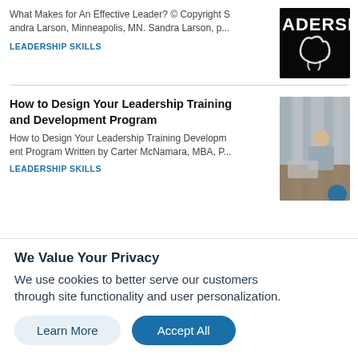What Makes for An Effective Leader? © Copyright Sandra Larson, Minneapolis, MN. Sandra Larson, p...
LEADERSHIP SKILLS
[Figure (photo): Black chalkboard with white chalk text 'ADERSH' and a chalk drawing of a bicep/arm muscle]
How to Design Your Leadership Training and Development Program
How to Design Your Leadership Training Development Program Written by Carter McNamara, MBA, P...
LEADERSHIP SKILLS
[Figure (photo): Photo of a man in a suit sitting at a table in a meeting room with grey curtains in the background]
We Value Your Privacy
We use cookies to better serve our customers through site functionality and user personalization.
Learn More
Accept All